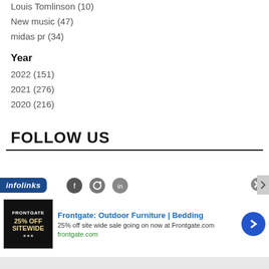Louis Tomlinson (10)
New music (47)
midas pr (34)
Year
2022 (151)
2021 (276)
2020 (216)
FOLLOW US
[Figure (other): Infolinks ad banner with social media icons and Frontgate outdoor furniture advertisement]
Frontgate: Outdoor Furniture | Bedding
25% off site wide sale going on now at Frontgate.com
frontgate.com